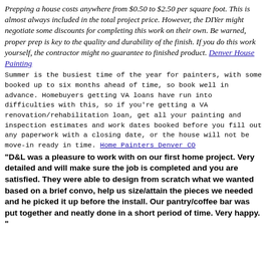Prepping a house costs anywhere from $0.50 to $2.50 per square foot. This is almost always included in the total project price. However, the DIYer might negotiate some discounts for completing this work on their own. Be warned, proper prep is key to the quality and durability of the finish. If you do this work yourself, the contractor might no guarantee to finished product. Denver House Painting
Summer is the busiest time of the year for painters, with some booked up to six months ahead of time, so book well in advance. Homebuyers getting VA loans have run into difficulties with this, so if you're getting a VA renovation/rehabilitation loan, get all your painting and inspection estimates and work dates booked before you fill out any paperwork with a closing date, or the house will not be move-in ready in time. Home Painters Denver CO
"D&L was a pleasure to work with on our first home project. Very detailed and will make sure the job is completed and you are satisfied. They were able to design from scratch what we wanted based on a brief convo, help us size/attain the pieces we needed and he picked it up before the install. Our pantry/coffee bar was put together and neatly done in a short period of time. Very happy. "